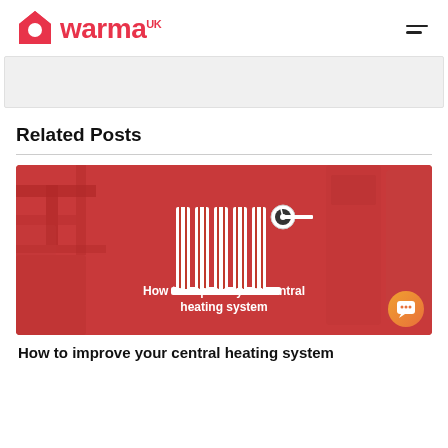warma UK
Related Posts
[Figure (photo): Red-tinted image of central heating pipes and boilers with a radiator icon and text overlay reading 'How to improve your central heating system']
How to improve your central heating system